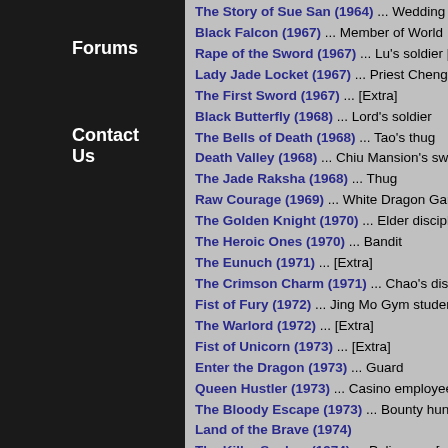Forums
Contact Us
The Story of Sue San (1964) ... Wedding mu
Black Falcon (1967) ... Member of World Ins
Rape of the Sword (1967) ... Lu's soldier [ex
Lady Jade Locket (1967) ... Priest Cheng's as
The First Sword (1967) ... [Extra]
Black Butterfly (1968) ... Lord's soldier
The Bells of Death (1968) ... Tao's thug
Death Valley (1968) ... Chiu Mansion's swor
The Jade Raksha (1968) ... Thug
Raw Courage (1969) ... White Dragon Gang
The Golden Knight (1970) ... Elder disciple o
The Heroic Ones (1970) ... Bandit
The Eunuch (1971) ... [Extra]
The Crimson Charm (1971) ... Chao's discipl
Fist of Fury (1972) ... Jing Mo Gym student
The Warlord (1972) ... [Extra]
Fist of Unicorn (1973) ... [Extra]
Enter the Dragon (1973) ... Guard
Queen Hustler (1973) ... Casino employee
The Bloody Escape (1973) ... Bounty hunter
Land of the Brave (1974)
The Killer Snakes (1974) ... Policeman [extr